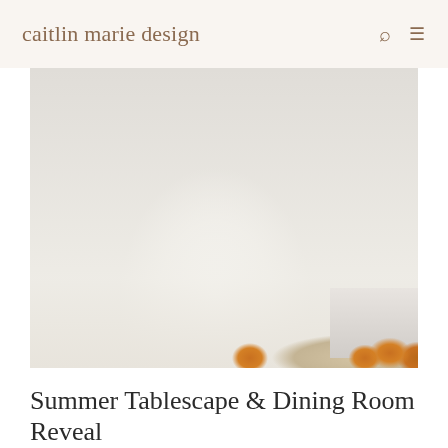caitlin marie design
[Figure (photo): Close-up photograph of a white ceramic vase with a dark brushstroke-pattern band, filled with white hydrangeas, green foliage, and small berries, placed on a linen-covered dining table. Black Windsor chairs visible in background. To the right, a stack of white bowls and a woven tray with golden pears. Soft blue-gray wall in background.]
Summer Tablescape & Dining Room Reveal